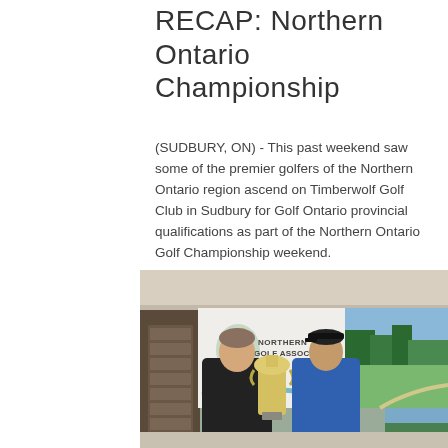RECAP: Northern Ontario Championship
(SUDBURY, ON) - This past weekend saw some of the premier golfers of the Northern Ontario region ascend on Timberwolf Golf Club in Sudbury for Golf Ontario provincial qualifications as part of the Northern Ontario Golf Championship weekend.
[Figure (photo): Two men standing indoors in front of a Northern Golf Association banner and a golf course backdrop, holding a large trophy cup. The man on the left wears a black jacket; the man on the right wears a blue jacket and a cap.]